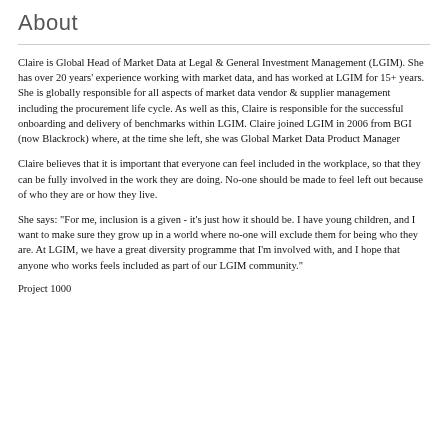About
Claire is Global Head of Market Data at Legal & General Investment Management (LGIM). She has over 20 years' experience working with market data, and has worked at LGIM for 15+ years. She is globally responsible for all aspects of market data vendor & supplier management including the procurement life cycle. As well as this, Claire is responsible for the successful onboarding and delivery of benchmarks within LGIM. Claire joined LGIM in 2006 from BGI (now Blackrock) where, at the time she left, she was Global Market Data Product Manager
Claire believes that it is important that everyone can feel included in the workplace, so that they can be fully involved in the work they are doing. No-one should be made to feel left out because of who they are or how they live.
She says: "For me, inclusion is a given - it's just how it should be. I have young children, and I want to make sure they grow up in a world where no-one will exclude them for being who they are. At LGIM, we have a great diversity programme that I'm involved with, and I hope that anyone who works feels included as part of our LGIM community."
Project 1000